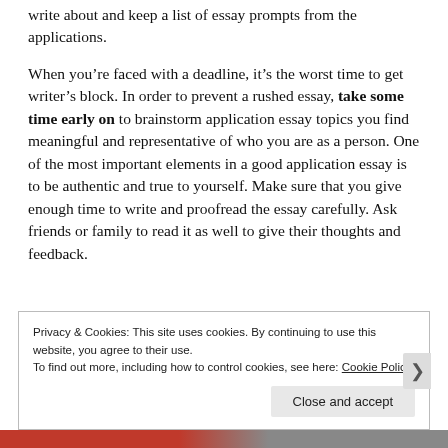write about and keep a list of essay prompts from the applications.
When you’re faced with a deadline, it’s the worst time to get writer’s block. In order to prevent a rushed essay, take some time early on to brainstorm application essay topics you find meaningful and representative of who you are as a person. One of the most important elements in a good application essay is to be authentic and true to yourself. Make sure that you give enough time to write and proofread the essay carefully. Ask friends or family to read it as well to give their thoughts and feedback.
Privacy & Cookies: This site uses cookies. By continuing to use this website, you agree to their use. To find out more, including how to control cookies, see here: Cookie Policy